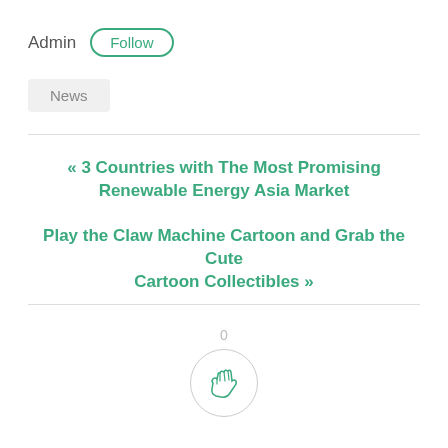Admin  Follow
News
« 3 Countries with The Most Promising Renewable Energy Asia Market
Play the Claw Machine Cartoon and Grab the Cute Cartoon Collectibles »
0